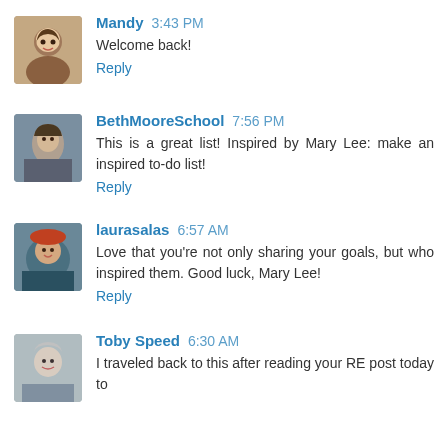[Figure (photo): Avatar photo of Mandy - woman smiling]
Mandy 3:43 PM
Welcome back!
Reply
[Figure (photo): Avatar photo of BethMooreSchool - person outdoors]
BethMooreSchool 7:56 PM
This is a great list! Inspired by Mary Lee: make an inspired to-do list!
Reply
[Figure (photo): Avatar photo of laurasalas - woman with hat]
laurasalas 6:57 AM
Love that you're not only sharing your goals, but who inspired them. Good luck, Mary Lee!
Reply
[Figure (photo): Avatar photo of Toby Speed - older woman]
Toby Speed 6:30 AM
I traveled back to this after reading your RE post today to